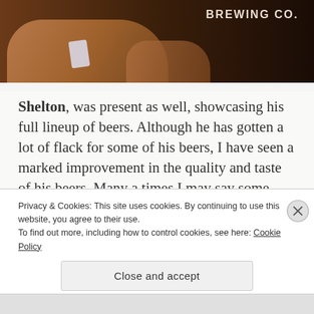[Figure (photo): Photo showing hands at a brewing event, with 'BREWING CO.' text visible on a dark shirt in the upper right.]
Shelton, was present as well, showcasing his full lineup of beers. Although he has gotten a lot of flack for some of his beers, I have seen a marked improvement in the quality and taste of his beers. Many a times I may say some good things about some beers, or individuals or institutions, but I don't always praise just the taste of a beer, I praise the
Privacy & Cookies: This site uses cookies. By continuing to use this website, you agree to their use.
To find out more, including how to control cookies, see here: Cookie Policy
Close and accept